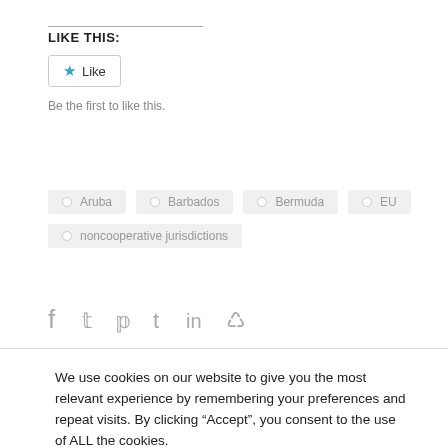LIKE THIS:
[Figure (other): Like button with star icon and 'Be the first to like this.' text]
Aruba
Barbados
Bermuda
EU
noncooperative jurisdictions
[Figure (other): Social sharing icons: Facebook, Twitter, Pinterest, Tumblr, LinkedIn, Reddit]
We use cookies on our website to give you the most relevant experience by remembering your preferences and repeat visits. By clicking “Accept”, you consent to the use of ALL the cookies.
Cookie settings  ACCEPT